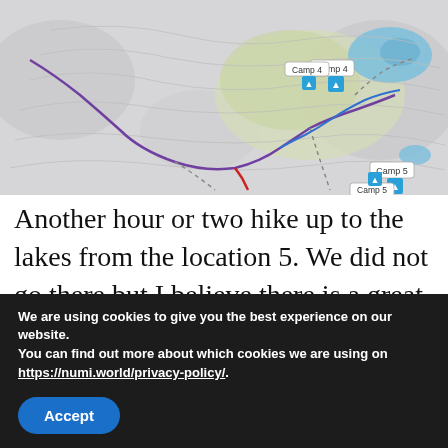[Figure (map): Topographic trail map showing hiking route with camp markers: Camp 4, Camp 5, Camp 6. Blue lake visible upper right. Route shown in purple/red lines with dotted trail sections.]
Another hour or two hike up to the lakes from the location 5. We did not go there but I believe there is a great place to sleep with a beautiful view
We are using cookies to give you the best experience on our website.
You can find out more about which cookies we are using on https://numi.world/privacy-policy/.